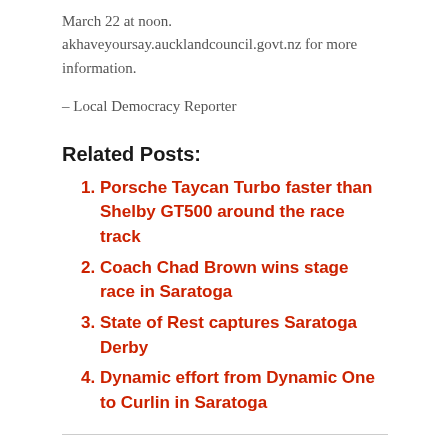March 22 at noon. akhaveyoursay.aucklandcouncil.govt.nz for more information.
– Local Democracy Reporter
Related Posts:
Porsche Taycan Turbo faster than Shelby GT500 around the race track
Coach Chad Brown wins stage race in Saratoga
State of Rest captures Saratoga Derby
Dynamic effort from Dynamic One to Curlin in Saratoga
SHARE.
[Figure (other): Social share buttons: Twitter, Facebook, Pinterest, LinkedIn, Tumblr, Email]